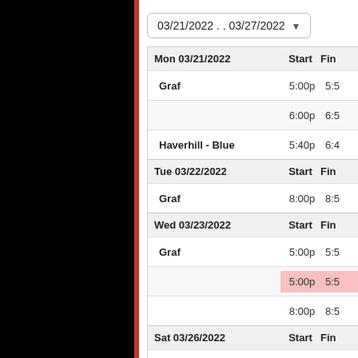03/21/2022 . . 03/27/2022 ▾
|  | Start | Fin |
| --- | --- | --- |
| Mon 03/21/2022 | Start | Fin |
| Graf | 5:00p | 5:5 |
|  | 6:00p | 6:5 |
| Haverhill - Blue | 5:40p | 6:4 |
| Tue 03/22/2022 | Start | Fin |
| Graf | 8:00p | 8:5 |
| Wed 03/23/2022 | Start | Fin |
| Graf | 5:00p | 5:5 |
|  | 5:00p | 5:5 |
|  | 8:00p | 8:5 |
| Sat 03/26/2022 | Start | Fin |
| Graf | 8:00a | 8:5 |
|  | 10:00a | 10: |